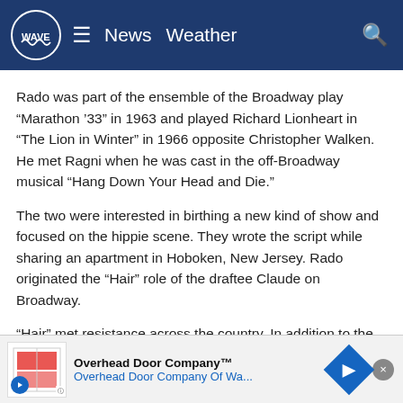WAVE | News  Weather
Rado was part of the ensemble of the Broadway play “Marathon ’33” in 1963 and played Richard Lionheart in “The Lion in Winter” in 1966 opposite Christopher Walken. He met Ragni when he was cast in the off-Broadway musical “Hang Down Your Head and Die.”
The two were interested in birthing a new kind of show and focused on the hippie scene. They wrote the script while sharing an apartment in Hoboken, New Jersey. Rado originated the “Hair” role of the draftee Claude on Broadway.
“Hair” met resistance across the country. In addition to the use of four-letter words, the flouting of authority, sexual references and gross-out humor, the end of Act 1 had the entire c… was what m… n flag.
[Figure (screenshot): Advertisement banner for Overhead Door Company with logo, play button, text and arrow icon]